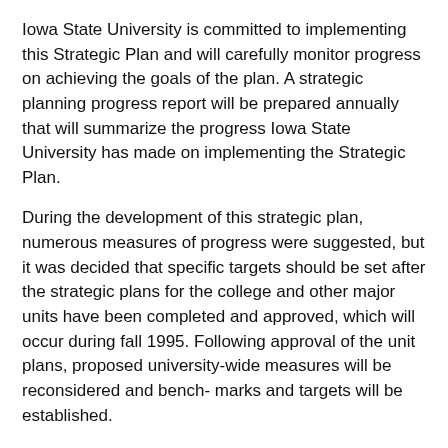Iowa State University is committed to implementing this Strategic Plan and will carefully monitor progress on achieving the goals of the plan. A strategic planning progress report will be prepared annually that will summarize the progress Iowa State University has made on implementing the Strategic Plan.
During the development of this strategic plan, numerous measures of progress were suggested, but it was decided that specific targets should be set after the strategic plans for the college and other major units have been completed and approved, which will occur during fall 1995. Following approval of the unit plans, proposed university-wide measures will be reconsidered and bench- marks and targets will be established.
Presented below is a preliminary listing of key indicators of progress that will be measured and reported annually.
National ratings and recognition of ISU's academic